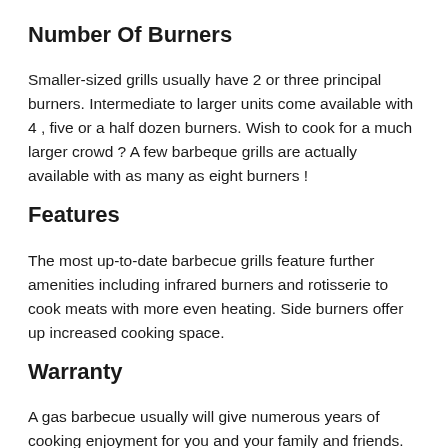Number Of Burners
Smaller-sized grills usually have 2 or three principal burners. Intermediate to larger units come available with 4 , five or a half dozen burners. Wish to cook for a much larger crowd ? A few barbeque grills are actually available with as many as eight burners !
Features
The most up-to-date barbecue grills feature further amenities including infrared burners and rotisserie to cook meats with more even heating. Side burners offer up increased cooking space.
Warranty
A gas barbecue usually will give numerous years of cooking enjoyment for you and your family and friends. Search for brand names that come with extra warranty periods and will